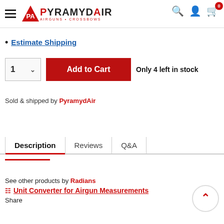Pyramyd Air - Airguns + Crossbows header navigation
Estimate Shipping
1  Add to Cart  Only 4 left in stock
Sold & shipped by PyramydAir
Description | Reviews | Q&A
See other products by Radians
Unit Converter for Airgun Measurements
Share